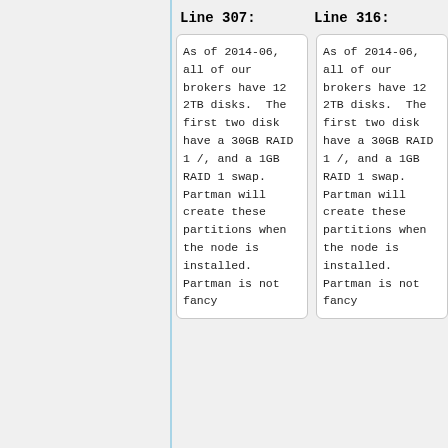Line 307:
Line 316:
As of 2014-06, all of our brokers have 12 2TB disks.  The first two disk have a 30GB RAID 1 /, and a 1GB RAID 1 swap. Partman will create these partitions when the node is installed. Partman is not fancy
As of 2014-06, all of our brokers have 12 2TB disks.  The first two disk have a 30GB RAID 1 /, and a 1GB RAID 1 swap. Partman will create these partitions when the node is installed. Partman is not fancy